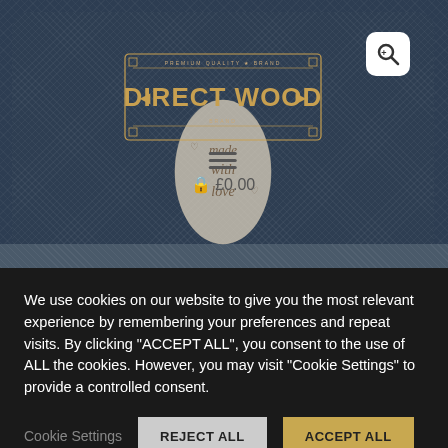[Figure (screenshot): Website screenshot showing Direct Wood brand logo on dark denim background with a wooden spoon/oval item engraved with 'made with love', hamburger menu icon, and £0.00 cart in the center overlay]
We use cookies on our website to give you the most relevant experience by remembering your preferences and repeat visits. By clicking "ACCEPT ALL", you consent to the use of ALL the cookies. However, you may visit "Cookie Settings" to provide a controlled consent.
Cookie Settings
REJECT ALL
ACCEPT ALL